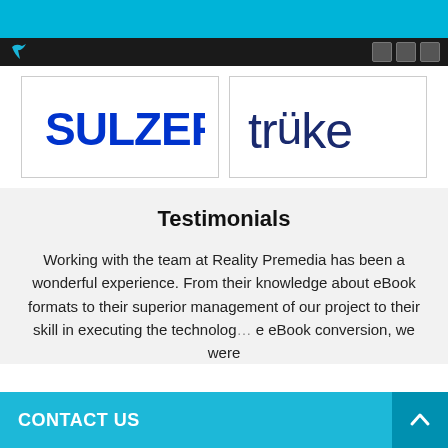[Figure (logo): SULZER company logo in blue]
[Figure (logo): trüke company logo in dark blue]
Testimonials
Working with the team at Reality Premedia has been a wonderful experience. From their knowledge about eBook formats to their superior management of our project to their skill in executing the technolog... e eBook conversion, we were